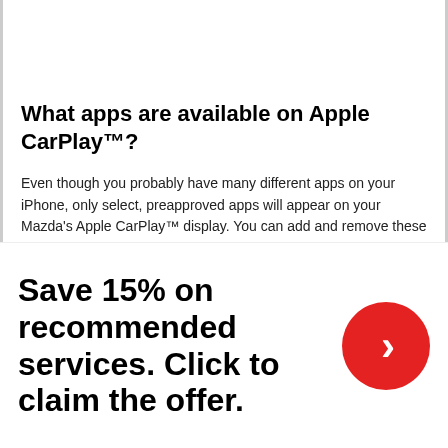What apps are available on Apple CarPlay™?
Even though you probably have many different apps on your iPhone, only select, preapproved apps will appear on your Mazda's Apple CarPlay™ display. You can add and remove these apps from the screen at any time. These include Podcasts, Audiobooks, iHeartRadio, WhatsApp, Spotify, Stitcher, CBS Radio, Overcast, Audiobooks.com, Audible, Pandora, Slacker Radio, VOX, NPR One, Clammr, Downcast, Radio Disney, Amazon, Google Play Music, SiriusXM Radio.
[Figure (infographic): Advertisement banner: 'Save 15% on recommended services. Click to claim the offer.' with a red circle containing a right-pointing chevron arrow.]